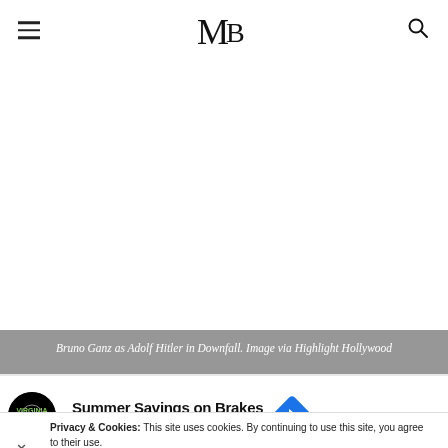MB (logo)
[Figure (photo): Large white/blank content area (image placeholder)]
Bruno Ganz as Adolf Hitler in Downfall. Image via Highlight Hollywood
Privacy & Cookies: This site uses cookies. By continuing to use this site, you agree to their use.
nd out more, including how to control cookies, see here: Cookie
[Figure (logo): Virginia Tire & Auto advertisement: Summer Savings on Brakes, Virginia Tire & Auto of Ashburn ...]